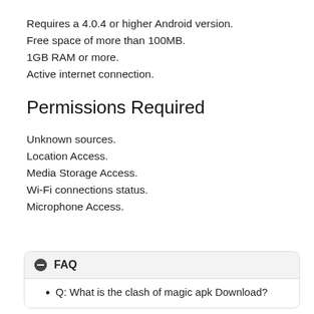Requires a 4.0.4 or higher Android version.
Free space of more than 100MB.
1GB RAM or more.
Active internet connection.
Permissions Required
Unknown sources.
Location Access.
Media Storage Access.
Wi-Fi connections status.
Microphone Access.
FAQ
Q: What is the clash of magic apk Download?